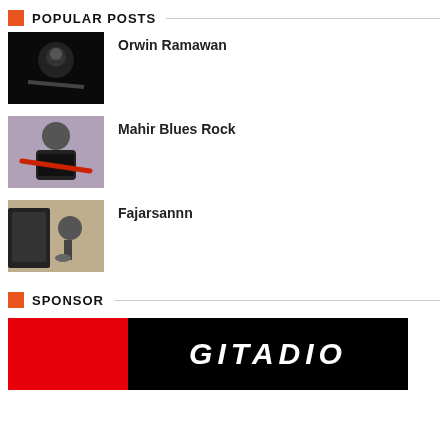POPULAR POSTS
Orwin Ramawan
[Figure (photo): Dark photo of a guitarist playing guitar on stage]
Mahir Blues Rock
[Figure (photo): Photo of a heavy-set man in black t-shirt playing an electric guitar]
Fajarsannn
[Figure (photo): Photo of a person playing a saxophone in front of a speaker cabinet]
SPONSOR
[Figure (logo): Sponsor banner with red left panel and black right panel with white bold italic text reading GITADIO]